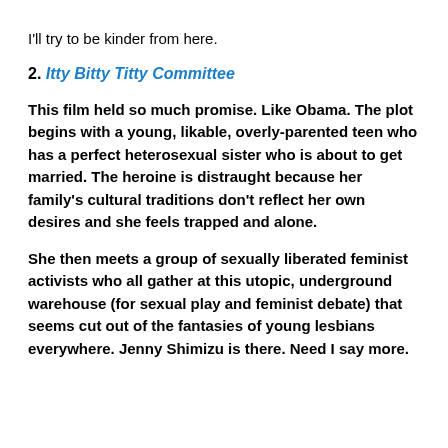I'll try to be kinder from here.
2. Itty Bitty Titty Committee
This film held so much promise. Like Obama. The plot begins with a young, likable, overly-parented teen who has a perfect heterosexual sister who is about to get married. The heroine is distraught because her family's cultural traditions don't reflect her own desires and she feels trapped and alone.
She then meets a group of sexually liberated feminist activists who all gather at this utopic, underground warehouse (for sexual play and feminist debate) that seems cut out of the fantasies of young lesbians everywhere. Jenny Shimizu is there. Need I say more.